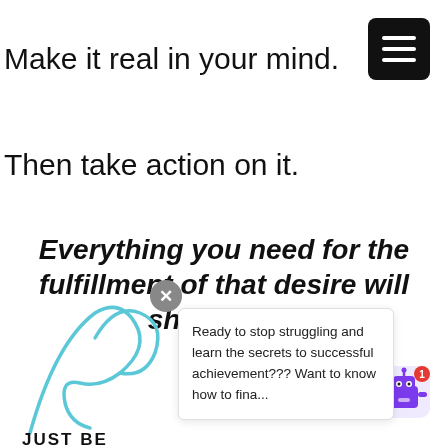[Figure (screenshot): Hamburger menu icon (three white lines on black rounded square) in top right corner]
Make it real in your mind.
Then take action on it.
Everything you need for the fulfillment of that desire will show itself.
[Figure (logo): Partial logo with cursive blue letter 'Da' and text 'JUST BE' below]
Ready to stop struggling and learn the secrets to successful achievement??? Want to know how to fina...
[Figure (illustration): Robot chatbot icon with red notification badge showing 1]